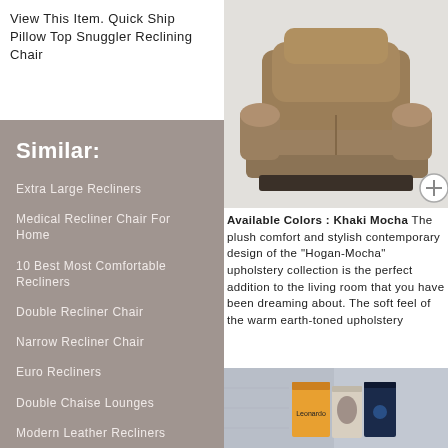View This Item. Quick Ship Pillow Top Snuggler Reclining Chair
[Figure (photo): Brown/tan upholstered reclining chair (Hogan-Mocha) on light grey background, with a circular plus button in the bottom right corner]
Similar:
Extra Large Recliners
Medical Recliner Chair For Home
10 Best Most Comfortable Recliners
Double Recliner Chair
Narrow Recliner Chair
Euro Recliners
Double Chaise Lounges
Modern Leather Recliners
Available Colors : Khaki Mocha The plush comfort and stylish contemporary design of the "Hogan-Mocha" upholstery collection is the perfect addition to the living room that you have been dreaming about. The soft feel of the warm earth-toned upholstery
[Figure (photo): Row of books on a shelf, including titles by Leonardo, with grey and blue tones]